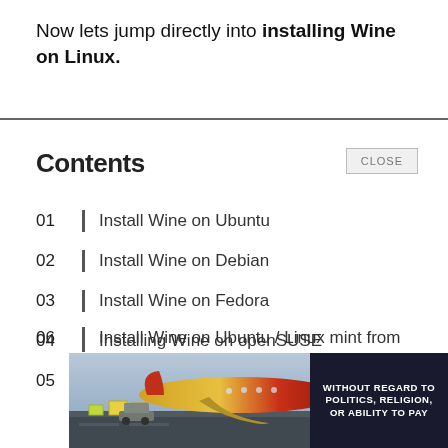Now lets jump directly into installing Wine on Linux.
Contents
01 | Install Wine on Ubuntu
02 | Install Wine on Debian
03 | Install Wine on Fedora
04 | Installing Wine on openSUSE
05 | Install Wine on Linux with CrossOver
06 | Install Wine on Ubuntu / Linux mint from
[Figure (photo): Advertisement image showing an airplane being loaded with cargo, with text overlay reading 'WITHOUT REGARD TO POLITICS, RELIGION, OR ABILITY TO PAY']